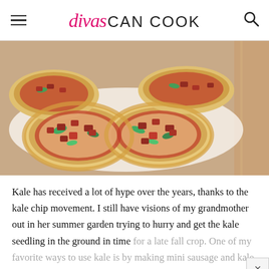divas CAN COOK
[Figure (photo): Close-up photo of mini sausage and kale pizzas on a white plate, showing golden-baked rounds topped with red tomato sauce, diced red sausage pieces, and green kale leaves, placed on a wooden surface]
Kale has received a lot of hype over the years, thanks to the kale chip movement.  I still have visions of my grandmother out in her summer garden trying to hurry and get the kale seedling in the ground in time for a late fall crop.  One of my favorite ways to use kale is by making mini sausage and kale pizzas. My